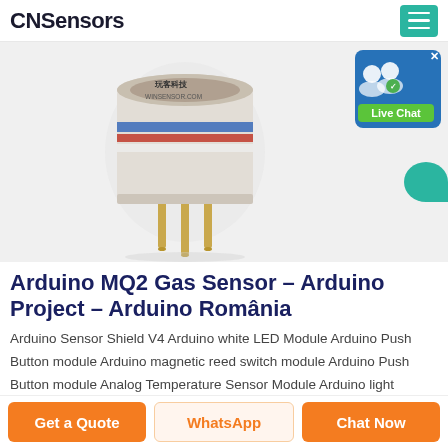CNSensors
[Figure (photo): Close-up photo of an MQ2 gas sensor module with gold pins and colored rings, on a white background. Text on sensor reads '玩客科技 WINSENSOR.COM']
Arduino MQ2 Gas Sensor – Arduino Project – Arduino România
Arduino Sensor Shield V4 Arduino white LED Module Arduino Push Button module Arduino magnetic reed switch module Arduino Push Button module Analog Temperature Sensor Module Arduino light sensor module